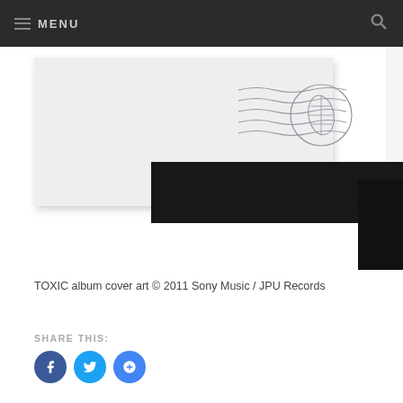MENU
[Figure (illustration): TOXIC album cover art showing a light grey/white envelope-like card with a postage stamp mark (wavy lines and circular emblem with a leaf/wheat motif in muted purple), overlaid with a dark black textured band across the middle-right. A white strip appears on the far right edge.]
TOXIC album cover art © 2011 Sony Music / JPU Records
SHARE THIS:
Share buttons: Facebook, Twitter, Google+